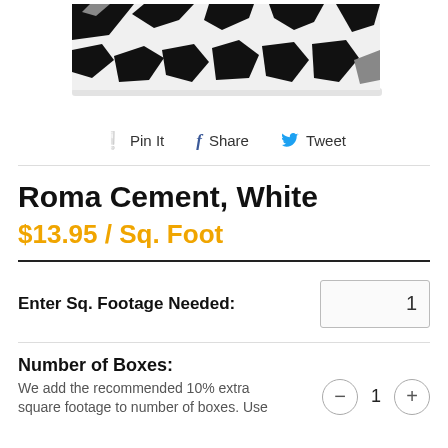[Figure (photo): Product image showing a black and white geometric patterned tile (Roma Cement, White) — bold black irregular shapes on a white background, viewed at an angle]
Pin It  Share  Tweet
Roma Cement, White
$13.95 / Sq. Foot
Enter Sq. Footage Needed:  1
Number of Boxes:
We add the recommended 10% extra square footage to number of boxes. Use